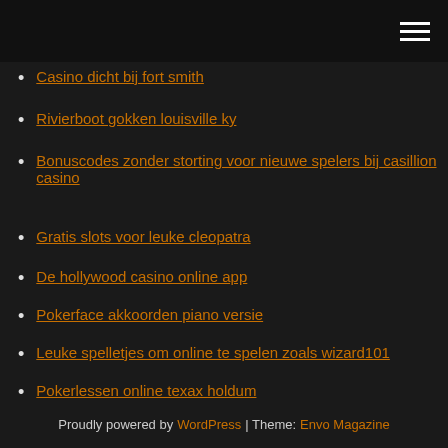Navigation menu header bar
Casino dicht bij fort smith
Rivierboot gokken louisville ky
Bonuscodes zonder storting voor nieuwe spelers bij casillion casino
Gratis slots voor leuke cleopatra
De hollywood casino online app
Pokerface akkoorden piano versie
Leuke spelletjes om online te spelen zoals wizard101
Pokerlessen online texax holdum
Geen slot standaard handler ns2
Nj online casino laat het rijden
Proudly powered by WordPress | Theme: Envo Magazine